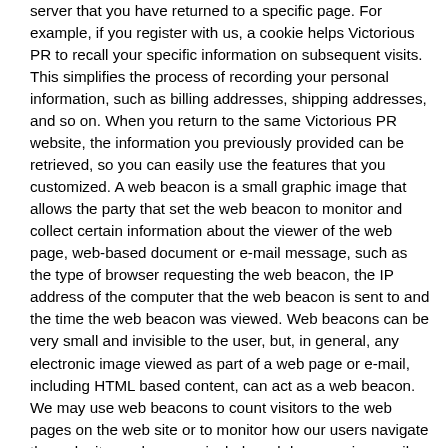server that you have returned to a specific page. For example, if you register with us, a cookie helps Victorious PR to recall your specific information on subsequent visits. This simplifies the process of recording your personal information, such as billing addresses, shipping addresses, and so on. When you return to the same Victorious PR website, the information you previously provided can be retrieved, so you can easily use the features that you customized. A web beacon is a small graphic image that allows the party that set the web beacon to monitor and collect certain information about the viewer of the web page, web-based document or e-mail message, such as the type of browser requesting the web beacon, the IP address of the computer that the web beacon is sent to and the time the web beacon was viewed. Web beacons can be very small and invisible to the user, but, in general, any electronic image viewed as part of a web page or e-mail, including HTML based content, can act as a web beacon. We may use web beacons to count visitors to the web pages on the web site or to monitor how our users navigate the web site, and we may include web beacons in e-mail messages in order to count how many messages sent were actually opened, acted upon or forwarded.